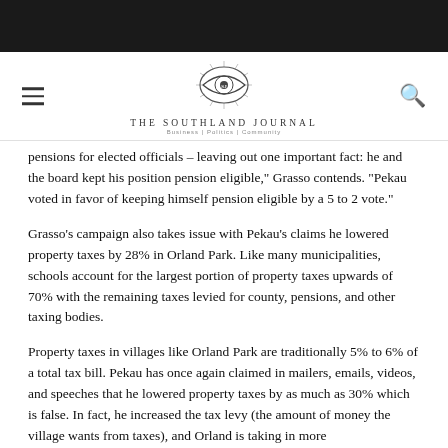The Southland Journal — Business | Politics | Community
pensions for elected officials – leaving out one important fact: he and the board kept his position pension eligible," Grasso contends. "Pekau voted in favor of keeping himself pension eligible by a 5 to 2 vote."
Grasso's campaign also takes issue with Pekau's claims he lowered property taxes by 28% in Orland Park. Like many municipalities, schools account for the largest portion of property taxes upwards of 70% with the remaining taxes levied for county, pensions, and other taxing bodies.
Property taxes in villages like Orland Park are traditionally 5% to 6% of a total tax bill. Pekau has once again claimed in mailers, emails, videos, and speeches that he lowered property taxes by as much as 30% which is false. In fact, he increased the tax levy (the amount of money the village wants from taxes), and Orland is taking in more